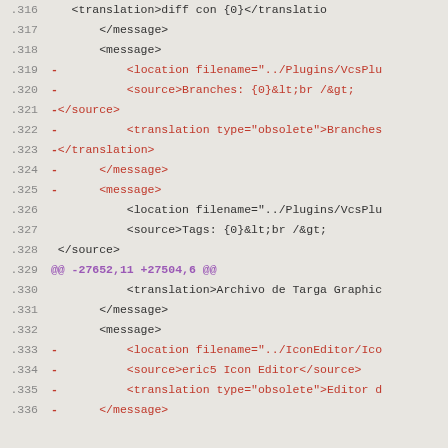Code diff showing XML localization file changes, lines 316-336
.316    <translation>diff con {0}</translatio
.317        </message>
.318        <message>
.319 -          <location filename="../Plugins/VcsPlu
.320 -          <source>Branches: {0}&lt;br /&gt;
.321 -</source>
.322 -          <translation type="obsolete">Branches
.323 -</translation>
.324 -      </message>
.325 -      <message>
.326          <location filename="../Plugins/VcsPlu
.327          <source>Tags: {0}&lt;br /&gt;
.328  </source>
.329 @@ -27652,11 +27504,6 @@
.330          <translation>Archivo de Targa Graphic
.331          </message>
.332          <message>
.333 -          <location filename="../IconEditor/Ico
.334 -          <source>eric5 Icon Editor</source>
.335 -          <translation type="obsolete">Editor d
.336 -      </message>